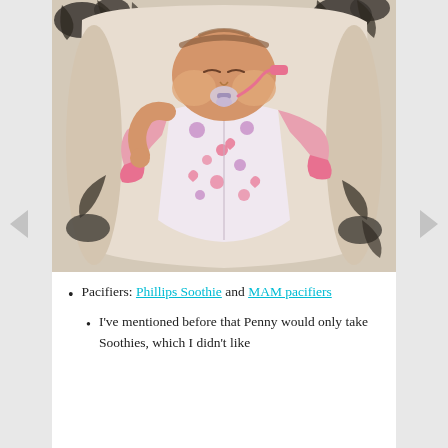[Figure (photo): A sleeping baby wearing a pink and white floral/animal print onesie, lying in a cream-colored lounger with black floral pattern fabric. The baby has a pink pacifier in its mouth and arms raised up.]
Pacifiers: Phillips Soothie and MAM pacifiers
I've mentioned before that Penny would only take Soothies, which I didn't like